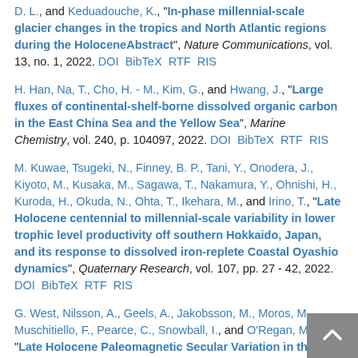D. L., and Keduadouche, K., "In-phase millennial-scale glacier changes in the tropics and North Atlantic regions during the HoloceneAbstract", Nature Communications, vol. 13, no. 1, 2022. DOI BibTeX RTF RIS
H. Han, Na, T., Cho, H. - M., Kim, G., and Hwang, J., "Large fluxes of continental-shelf-borne dissolved organic carbon in the East China Sea and the Yellow Sea", Marine Chemistry, vol. 240, p. 104097, 2022. DOI BibTeX RTF RIS
M. Kuwae, Tsugeki, N., Finney, B. P., Tani, Y., Onodera, J., Kiyoto, M., Kusaka, M., Sagawa, T., Nakamura, Y., Ohnishi, H., Kuroda, H., Okuda, N., Ohta, T., Ikehara, M., and Irino, T., "Late Holocene centennial to millennial-scale variability in lower trophic level productivity off southern Hokkaido, Japan, and its response to dissolved iron-replete Coastal Oyashio dynamics", Quaternary Research, vol. 107, pp. 27 - 42, 2022. DOI BibTeX RTF RIS
G. West, Nilsson, A., Geels, A., Jakobsson, M., Moros, M., Muschitiello, F., Pearce, C., Snowball, I., and O'Regan, M., "Late Holocene Paleomagnetic Secular Variation in the Chukchi